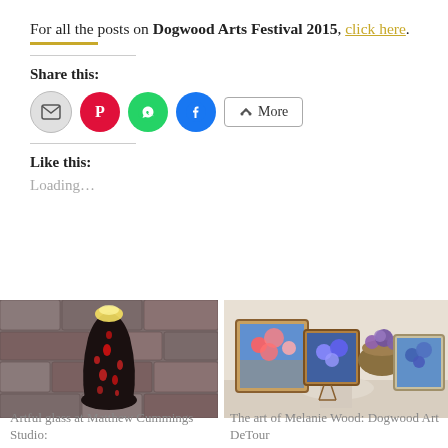For all the posts on Dogwood Arts Festival 2015, click here.
Share this:
[Figure (infographic): Share buttons: email (grey circle), Pinterest (red circle), WhatsApp (green circle), Facebook (blue circle), More (outlined rectangle button)]
Like this:
Loading...
[Figure (photo): Photo of artful glass lamp at Matthew Cummings Studio against a stone wall background]
Artful glass at Matthew Cummings Studio:
[Figure (photo): Photo of paintings displayed on a white table with a basket of purple flowers, showing colorful artwork at a Dogwood Art DeTour]
The art of Melanie Wood: Dogwood Art DeTour